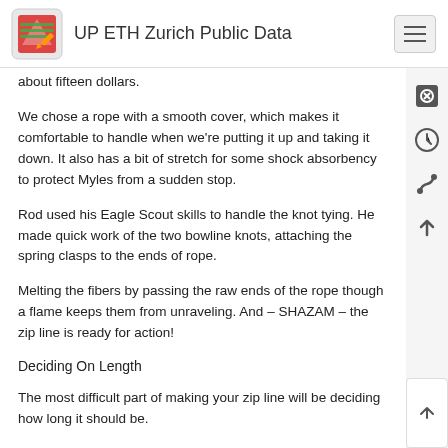UP ETH Zurich Public Data
about fifteen dollars.
We chose a rope with a smooth cover, which makes it comfortable to handle when we're putting it up and taking it down. It also has a bit of stretch for some shock absorbency to protect Myles from a sudden stop.
Rod used his Eagle Scout skills to handle the knot tying. He made quick work of the two bowline knots, attaching the spring clasps to the ends of rope.
Melting the fibers by passing the raw ends of the rope though a flame keeps them from unraveling. And – SHAZAM – the zip line is ready for action!
Deciding On Length
The most difficult part of making your zip line will be deciding how long it should be.
We decided on a 50 foot line, which gives Myles plenty of room to explore. And because having too much is better than not enough.